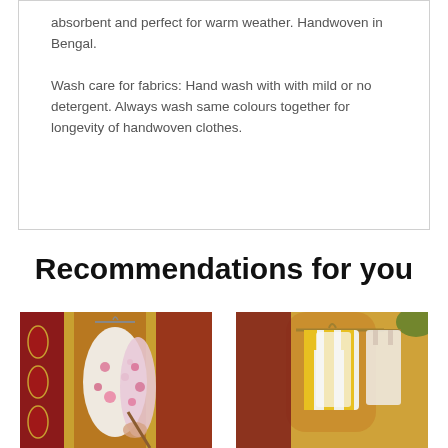absorbent and perfect for warm weather. Handwoven in Bengal.
Wash care for fabrics: Hand wash with with mild or no detergent. Always wash same colours together for longevity of handwoven clothes.
Recommendations for you
[Figure (photo): A floral/printed garment on a hanger displayed against a decorative red and gold background]
[Figure (photo): A yellow and white striped garment on a hanger against a decorative background]